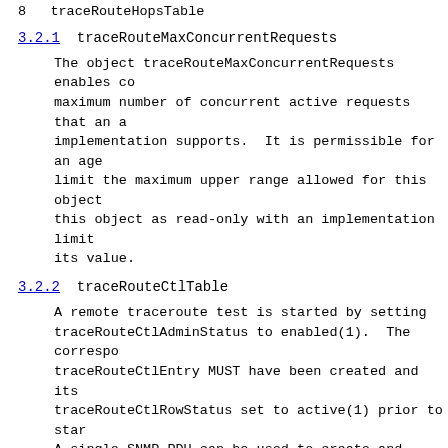8   traceRouteHopsTable
3.2.1   traceRouteMaxConcurrentRequests
The object traceRouteMaxConcurrentRequests enables co maximum number of concurrent active requests that an a implementation supports.  It is permissible for an age limit the maximum upper range allowed for this object this object as read-only with an implementation limit its value.
3.2.2   traceRouteCtlTable
A remote traceroute test is started by setting traceRouteCtlAdminStatus to enabled(1).  The correspo traceRouteCtlEntry MUST have been created and its traceRouteCtlRowStatus set to active(1) prior to star A single SNMP PDU can be used to create and start a r test.  Within the PDU, traceRouteCtlTargetAddress sho the target host's address (traceRouteCtlTargetAddress default to ipv4(1)), traceRouteCtlAdminStatus to enab traceRouteCtlRowStatus to createAndGo(4).
The first index element, traceRouteCtlOwnerIndex, is SnmpAdminString, a textual convention that allows for SNMPv3 View-Based Access Control Model (RFC 2575 [11] allows a management application to identify its entrie index, traceRouteCtlTestName (also an SnmpAdminString same management application to have multiple requests
Traceroute has a much longer theoretical maximum time